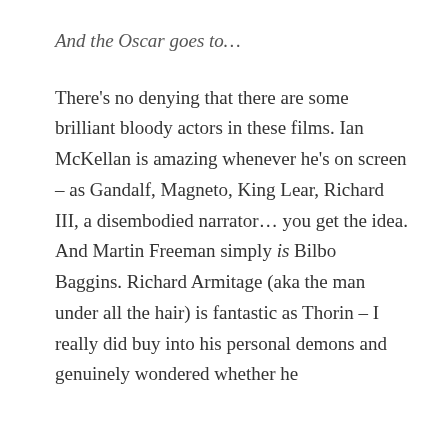And the Oscar goes to…
There's no denying that there are some brilliant bloody actors in these films. Ian McKellan is amazing whenever he's on screen – as Gandalf, Magneto, King Lear, Richard III, a disembodied narrator… you get the idea. And Martin Freeman simply is Bilbo Baggins. Richard Armitage (aka the man under all the hair) is fantastic as Thorin – I really did buy into his personal demons and genuinely wondered whether he